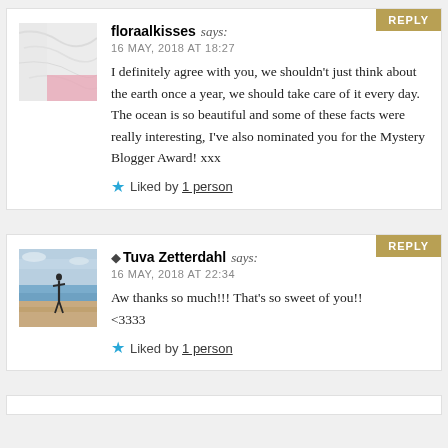floraalkisses says:
16 MAY, 2018 AT 18:27
I definitely agree with you, we shouldn't just think about the earth once a year, we should take care of it every day. The ocean is so beautiful and some of these facts were really interesting, I've also nominated you for the Mystery Blogger Award! xxx
Liked by 1 person
Tuva Zetterdahl says:
16 MAY, 2018 AT 22:34
Aw thanks so much!!! That's so sweet of you!! <3333
Liked by 1 person